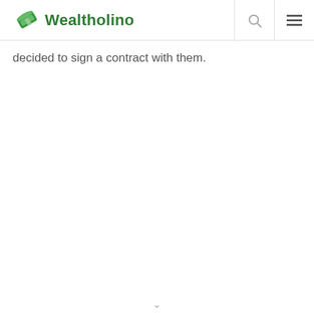Wealtholino
decided to sign a contract with them.